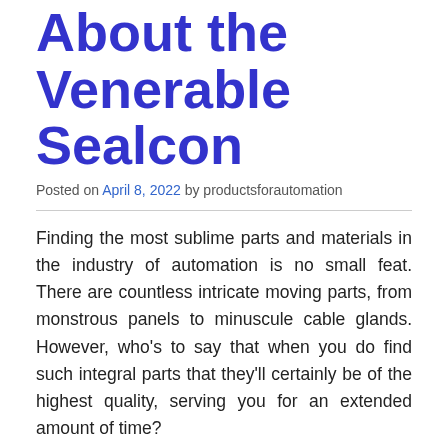About the Venerable Sealcon
Posted on April 8, 2022 by productsforautomation
Finding the most sublime parts and materials in the industry of automation is no small feat. There are countless intricate moving parts, from monstrous panels to minuscule cable glands. However, who’s to say that when you do find such integral parts that they’ll certainly be of the highest quality, serving you for an extended amount of time?
Precisely: no one. Your research has, fortunately,